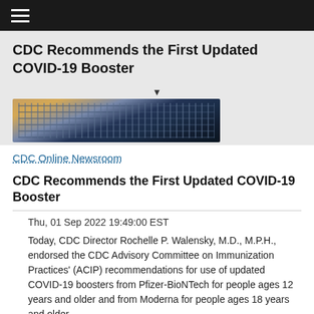CDC Recommends the First Updated COVID-19 Booster
[Figure (photo): Laptop keyboard on a wooden desk, partially visible at the bottom of the hero section]
CDC Online Newsroom
CDC Recommends the First Updated COVID-19 Booster
Thu, 01 Sep 2022 19:49:00 EST
Today, CDC Director Rochelle P. Walensky, M.D., M.P.H., endorsed the CDC Advisory Committee on Immunization Practices' (ACIP) recommendations for use of updated COVID-19 boosters from Pfizer-BioNTech for people ages 12 years and older and from Moderna for people ages 18 years and older.
Full Story
Increased Use of Telehealth for Opioid Use